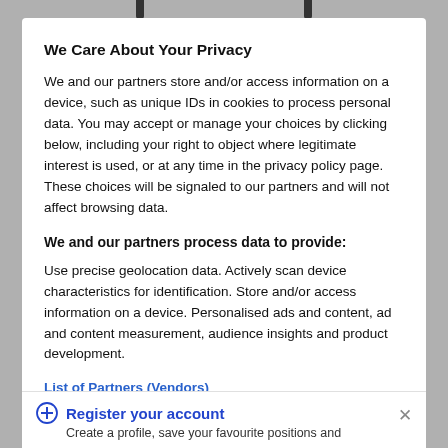We Care About Your Privacy
We and our partners store and/or access information on a device, such as unique IDs in cookies to process personal data. You may accept or manage your choices by clicking below, including your right to object where legitimate interest is used, or at any time in the privacy policy page. These choices will be signaled to our partners and will not affect browsing data.
We and our partners process data to provide:
Use precise geolocation data. Actively scan device characteristics for identification. Store and/or access information on a device. Personalised ads and content, ad and content measurement, audience insights and product development.
List of Partners (Vendors)
Customise
I Accept
Register your account
Create a profile, save your favourite positions and